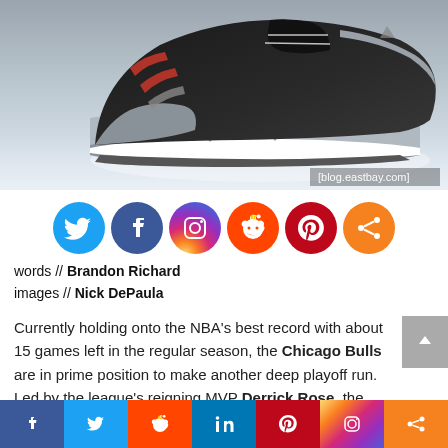[Figure (photo): Side view of a black and grey basketball sneaker (Adidas) with red accent stripes and cement/speckle pattern on midsole. Watermark reads [blog.eastbay.com]]
[Figure (infographic): Row of circular social media share icons: Twitter (blue), Facebook (dark blue), Instagram (gradient purple/orange), Reddit (orange-red), Pinterest (red), Share (orange)]
words // Brandon Richard
images // Nick DePaula
Currently holding onto the NBA's best record with about 15 games left in the regular season, the Chicago Bulls are in prime position to make another deep playoff run. Led by the league's reigning MVP Derrick Rose, the Bulls
[Figure (infographic): Bottom share bar with icons: Facebook (blue), Twitter (light blue), Reddit (orange-red), LinkedIn (blue), Pinterest (red), Instagram (gradient), Share (orange-yellow)]